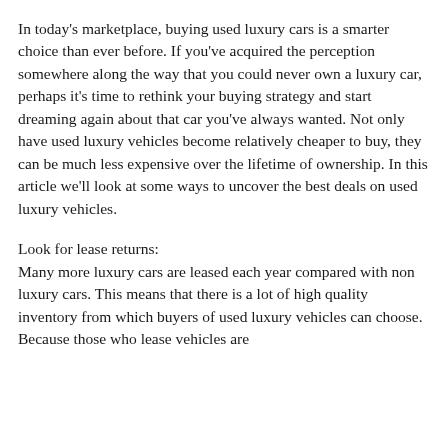In today's marketplace, buying used luxury cars is a smarter choice than ever before. If you've acquired the perception somewhere along the way that you could never own a luxury car, perhaps it's time to rethink your buying strategy and start dreaming again about that car you've always wanted. Not only have used luxury vehicles become relatively cheaper to buy, they can be much less expensive over the lifetime of ownership. In this article we'll look at some ways to uncover the best deals on used luxury vehicles.
Look for lease returns:
Many more luxury cars are leased each year compared with non luxury cars. This means that there is a lot of high quality inventory from which buyers of used luxury vehicles can choose. Because those who lease vehicles are